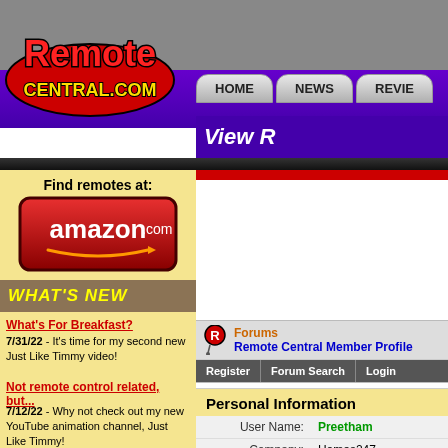[Figure (logo): RemoteCentral.com logo with red/yellow text on white background with black outline]
HOME | NEWS | REVIE...
View R...
Find remotes at:
[Figure (logo): Amazon.com red button logo]
WHAT'S NEW
What's For Breakfast?
7/31/22 - It's time for my second new Just Like Timmy video!
Not remote control related, but...
7/12/22 - Why not check out my new YouTube animation channel, Just Like Timmy!
Forums
Remote Central Member Profile
Register | Forum Search | Login
Personal Information
| Field | Value |
| --- | --- |
| User Name: | Preetham... |
| Company: | Homes247... |